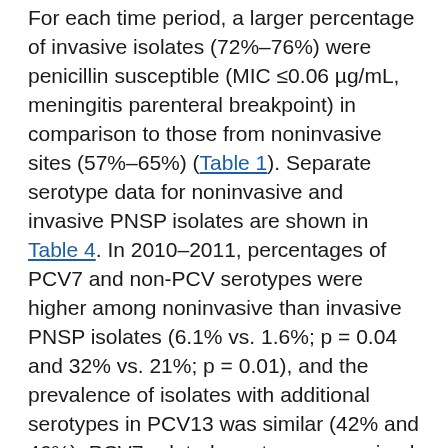For each time period, a larger percentage of invasive isolates (72%–76%) were penicillin susceptible (MIC ≤0.06 µg/mL, meningitis parenteral breakpoint) in comparison to those from noninvasive sites (57%–65%) (Table 1). Separate serotype data for noninvasive and invasive PNSP isolates are shown in Table 4. In 2010–2011, percentages of PCV7 and non-PCV serotypes were higher among noninvasive than invasive PNSP isolates (6.1% vs. 1.6%; p = 0.04 and 32% vs. 21%; p = 0.01), and the prevalence of isolates with additional serotypes in PCV13 was similar (42% and 46%). PCV7-related serotypes comprised a larger percentage of the PNSP invasive isolates (32% vs. 20%; p = 0.004). The prevalence of individual serotypes among 2010–2011 PNSP isolates was similar for noninvasive and invasive isolates, except for 3 serotypes. The percentage of serotypes 23A and 23B among PNSP invasive isolates in 2010–2011